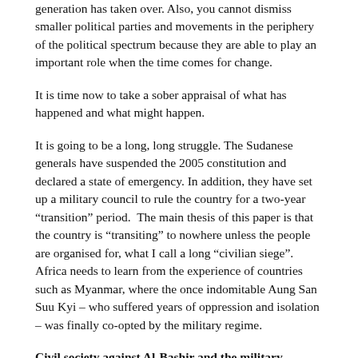generation has taken over. Also, you cannot dismiss smaller political parties and movements in the periphery of the political spectrum because they are able to play an important role when the time comes for change.
It is time now to take a sober appraisal of what has happened and what might happen.
It is going to be a long, long struggle. The Sudanese generals have suspended the 2005 constitution and declared a state of emergency. In addition, they have set up a military council to rule the country for a two-year “transition” period.  The main thesis of this paper is that the country is “transiting” to nowhere unless the people are organised for, what I call a long “civilian siege”. Africa needs to learn from the experience of countries such as Myanmar, where the once indomitable Aung San Suu Kyi – who suffered years of oppression and isolation – was finally co-opted by the military regime.
Civil society against Al-Bashir and the military